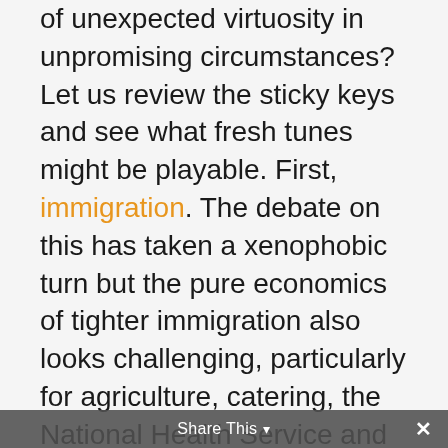of unexpected virtuosity in unpromising circumstances? Let us review the sticky keys and see what fresh tunes might be playable. First, immigration. The debate on this has taken a xenophobic turn but the pure economics of tighter immigration also looks challenging, particularly for agriculture, catering, the National Health Service and higher education. Since EU migrants have more than paid their way, discouraging them will also weigh on public finances.

Second, trade. We don’t know what the post-Brexit trade landscape will look like but the UK will find it harder to remain an open economy. It will be more difficult to integrate with pan-EU supply chains, the costs of imports will rise
Share This ▾ ×